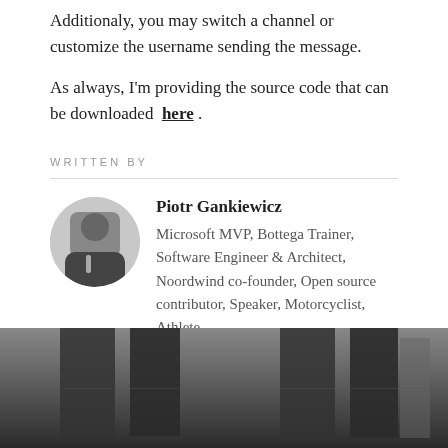Additionaly, you may switch a channel or customize the username sending the message.
As always, I'm providing the source code that can be downloaded here .
WRITTEN BY
[Figure (photo): Circular avatar photo of Piotr Gankiewicz, a man in dark clothing]
Piotr Gankiewicz
Microsoft MVP, Bottega Trainer, Software Engineer & Architect, Noordwind co-founder, Open source contributor, Speaker, Motorcyclist, Athlete
NEXT READING
[Figure (photo): Dark background image with vertical bar/column shapes, used as decorative background for the NEXT READING section]